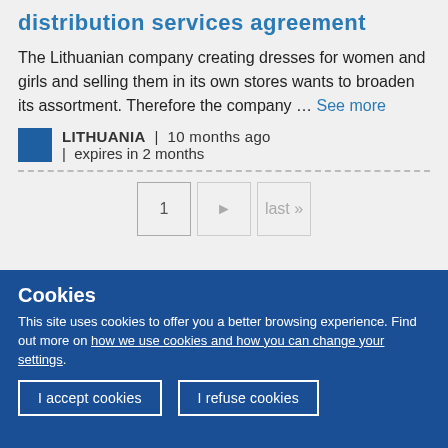distribution services agreement
The Lithuanian company creating dresses for women and girls and selling them in its own stores wants to broaden its assortment. Therefore the company … See more
LITHUANIA | 10 months ago | expires in 2 months
1 ► last »
Cookies
This site uses cookies to offer you a better browsing experience. Find out more on how we use cookies and how you can change your settings.
I accept cookies
I refuse cookies